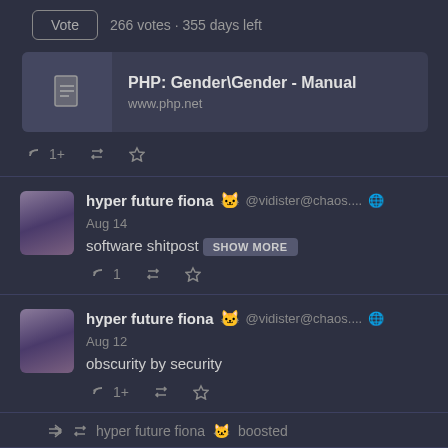Vote · 266 votes · 355 days left
[Figure (screenshot): Link card showing PHP: Gender\Gender - Manual from www.php.net with a document icon]
hyper future fiona 🐱 @vidister@chaos.... 🌐 Aug 14
software shitpost [SHOW MORE]
hyper future fiona 🐱 @vidister@chaos.... 🌐 Aug 12
obscurity by security
↩ hyper future fiona 🐱 boosted
zerforschung @zerforschung@chaos.so... 🌐 Aug 1...